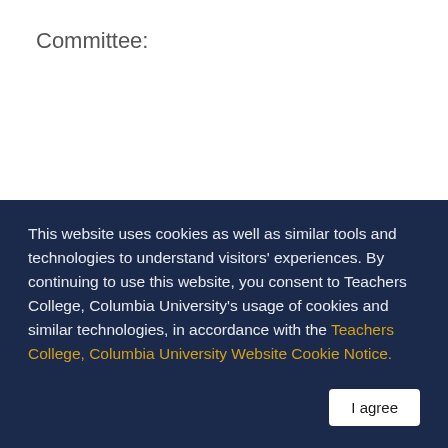Committee:
This website uses cookies as well as similar tools and technologies to understand visitors' experiences. By continuing to use this website, you consent to Teachers College, Columbia University's usage of cookies and similar technologies, in accordance with the Teachers College, Columbia University Website Cookie Notice.